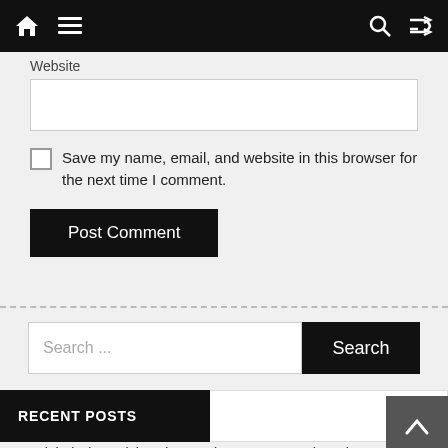Navigation bar with home, menu, search, and shuffle icons
Website
Save my name, email, and website in this browser for the next time I comment.
Post Comment
Search ...
RECENT POSTS
Global Dicaprylyl Carbonate (CAS 1680-31-5) Market Forecast